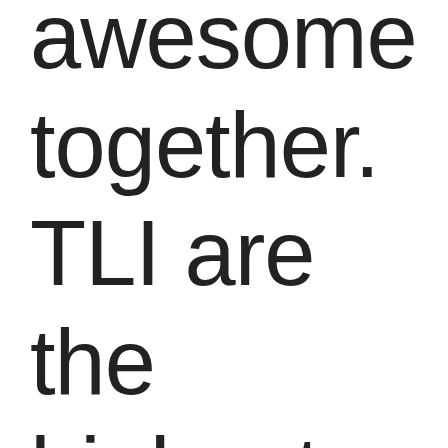awesome together.  TLI are the highest ranked comedy